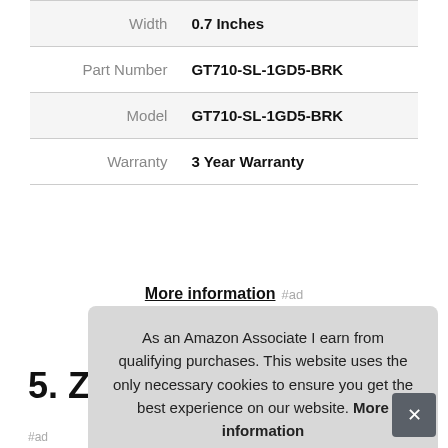| Attribute | Value |
| --- | --- |
| Width | 0.7 Inches |
| Part Number | GT710-SL-1GD5-BRK |
| Model | GT710-SL-1GD5-BRK |
| Warranty | 3 Year Warranty |
More information #ad
5. ZOTAC
#ad
As an Amazon Associate I earn from qualifying purchases. This website uses the only necessary cookies to ensure you get the best experience on our website. More information